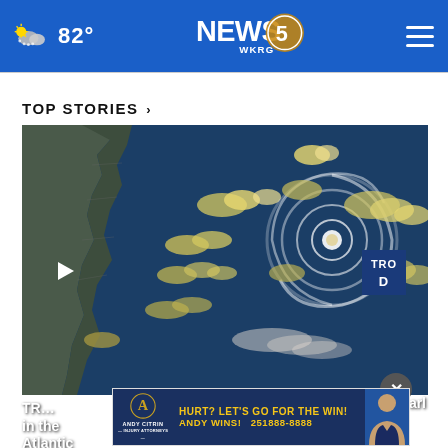82° NEWS 5 WKRG
TOP STORIES ›
[Figure (photo): Satellite imagery showing tropical storm system in the Atlantic Ocean with swirling cloud bands and a hurricane eye symbol overlay. A play button icon is visible in the top-left corner and 'TRO D' label in the top-right corner.]
[Figure (other): Andy Citrin Injury Attorneys advertisement banner: 'HURT? LET'S GO FOR THE WIN! ANDY WINS! 251 888-8888' with attorney photo]
TR… arl in the Atlantic